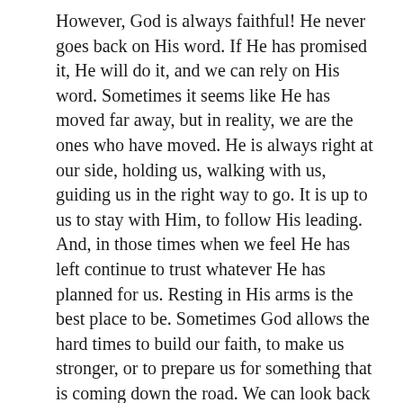However, God is always faithful! He never goes back on His word. If He has promised it, He will do it, and we can rely on His word. Sometimes it seems like He has moved far away, but in reality, we are the ones who have moved. He is always right at our side, holding us, walking with us, guiding us in the right way to go. It is up to us to stay with Him, to follow His leading. And, in those times when we feel He has left continue to trust whatever He has planned for us. Resting in His arms is the best place to be. Sometimes God allows the hard times to build our faith, to make us stronger, or to prepare us for something that is coming down the road. We can look back and say, “If God could bring me through that, He can bring me through this.” Our strength comes from trusting in His Divine Plan for our lives and allowing Him to work through us and in us.
So, if you are going through a difficult time, remember it’s ok to ask, “How long, O Lord?” Just remember, He hasn’t